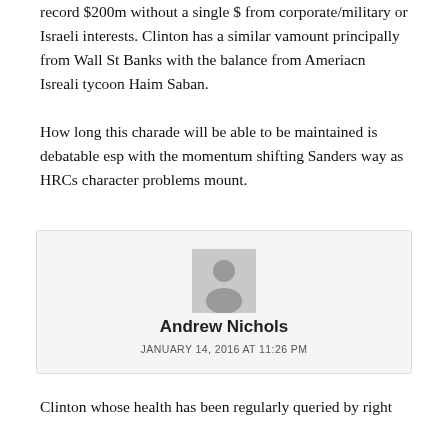record $200m without a single $ from corporate/military or Israeli interests. Clinton has a similar vamount principally from Wall St Banks with the balance from Ameriacn Isreali tycoon Haim Saban.

How long this charade will be able to be maintained is debatable esp with the momentum shifting Sanders way as HRCs character problems mount.
[Figure (illustration): Generic avatar/profile placeholder image - grey silhouette of a person on grey background]
Andrew Nichols
JANUARY 14, 2016 AT 11:26 PM
Clinton whose health has been regularly queried by right